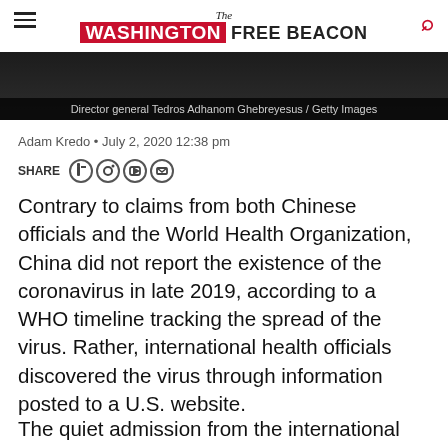The Washington Free Beacon
[Figure (photo): Dark photo of Director general Tedros Adhanom Ghebreyesus / Getty Images]
Director general Tedros Adhanom Ghebreyesus / Getty Images
Adam Kredo · July 2, 2020 12:38 pm
SHARE
Contrary to claims from both Chinese officials and the World Health Organization, China did not report the existence of the coronavirus in late 2019, according to a WHO timeline tracking the spread of the virus. Rather, international health officials discovered the virus through information posted to a U.S. website.
The quiet admission from the international health